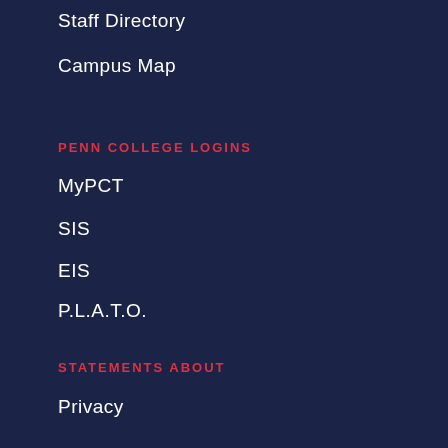Staff Directory
Campus Map
PENN COLLEGE LOGINS
MyPCT
SIS
EIS
P.L.A.T.O.
STATEMENTS ABOUT
Privacy
Accessibility
Nondiscrimination
Diversity
ADDITIONAL RESOURCES